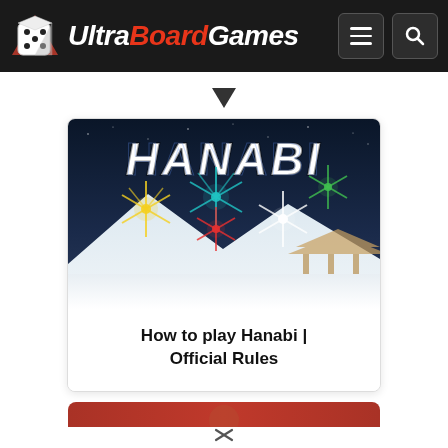UltraBoardGames
[Figure (illustration): Hanabi board game box art showing colorful fireworks over a snowy mountain scene with a Japanese temple, title 'HANABI' in white stylized text at top]
How to play Hanabi | Official Rules
[Figure (photo): Partial view of a second card with red background, partially visible at the bottom of the page]